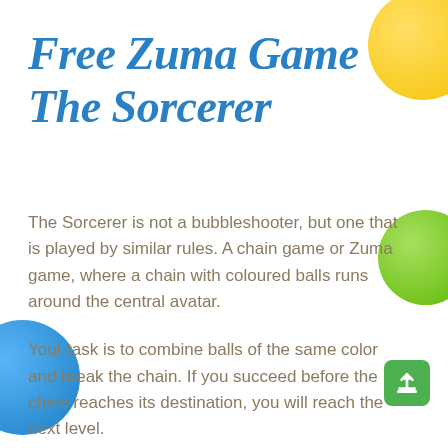Free Zuma Game The Sorcerer
The Sorcerer is not a bubbleshooter, but one that is played by similar rules. A chain game or Zuma game, where a chain with coloured balls runs around the central avatar.
Your task is to combine balls of the same color and break the chain. If you succeed before the chain reaches its destination, you will reach the next level.
In the basic version we had The Sorcerer with 3 levels. Now we can provide 10 more levels for this exclusive game. 13 challenges you have to